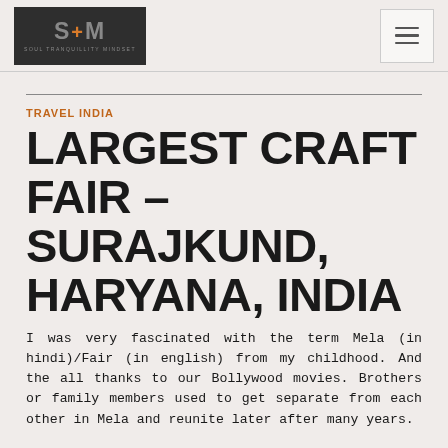[Figure (logo): STM logo - Soul Tranquillity Mindset - dark background with stylized letters S, plus sign, M in grey and orange]
[Figure (other): Hamburger menu icon - three horizontal lines in a bordered box]
TRAVEL INDIA
LARGEST CRAFT FAIR – SURAJKUND, HARYANA, INDIA
I was very fascinated with the term Mela (in hindi)/Fair (in english) from my childhood. And the all thanks to our Bollywood movies. Brothers or family members used to get separate from each other in Mela and reunite later after many years.